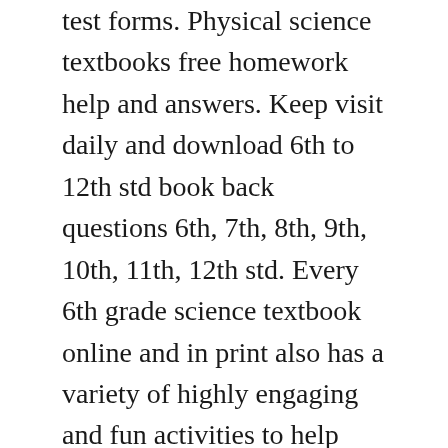test forms. Physical science textbooks free homework help and answers. Keep visit daily and download 6th to 12th std book back questions 6th, 7th, 8th, 9th, 10th, 11th, 12th std. Every 6th grade science textbook online and in print also has a variety of highly engaging and fun activities to help students experience their lessons first hand. Here is a list of science skills students learn in sixth grade. Online stemquest activities enrich learning with more complex, realworld projects. Interactive science 68 20162017